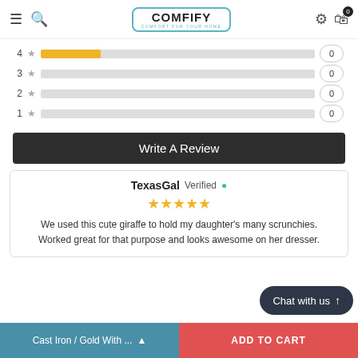COMFIFY — COMFORT FOR YOUR HOME
[Figure (other): Rating bars showing star counts: 4 stars with gold bar (non-zero), 3 stars with empty bar (0), 2 stars with empty bar (0), 1 star with empty bar (0)]
Write A Review
TexasGal Verified ✓
★★★★★
We used this cute giraffe to hold my daughter's many scrunchies. Worked great for that purpose and looks awesome on her dresser.
Chat with us
Cast Iron / Gold With ...
ADD TO CART